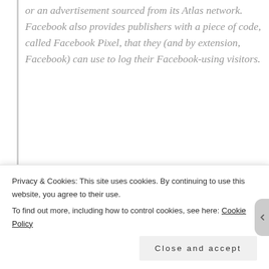or an advertisement sourced from its Atlas network. Facebook also provides publishers with a piece of code, called Facebook Pixel, that they (and by extension, Facebook) can use to log their Facebook-using visitors.
[Figure (other): WooCommerce advertisement banner: dark purple background with colorful geometric shapes, WooCommerce logo on the left, text 'Turn your hobby into a business in 8 steps' on the right]
Here are three more links to more recent material. I'm
Privacy & Cookies: This site uses cookies. By continuing to use this website, you agree to their use.
To find out more, including how to control cookies, see here: Cookie Policy